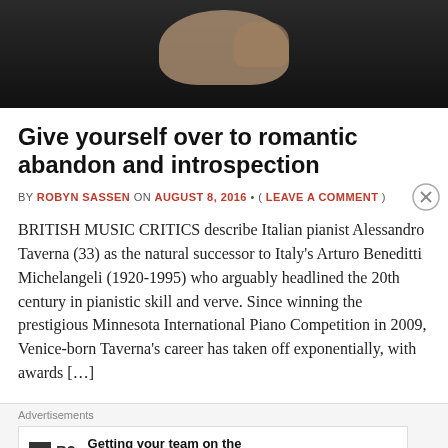[Figure (photo): Dark photograph showing hands, likely of a pianist, against a dark background]
Give yourself over to romantic abandon and introspection
BY ROBYN SASSEN ON AUGUST 8, 2016 • ( LEAVE A COMMENT )
BRITISH MUSIC CRITICS describe Italian pianist Alessandro Taverna (33) as the natural successor to Italy's Arturo Beneditti Michelangeli (1920-1995) who arguably headlined the 20th century in pianistic skill and verve. Since winning the prestigious Minnesota International Piano Competition in 2009, Venice-born Taverna's career has taken off exponentially, with awards […]
Advertisements
Getting your team on the same page is easy. And free.